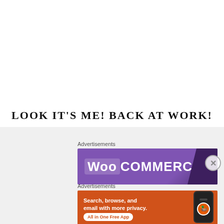LOOK IT'S ME! BACK AT WORK!
Advertisements
[Figure (illustration): WooCommerce advertisement banner with purple gradient background and white WooCommerce logo text]
Advertisements
[Figure (illustration): DuckDuckGo advertisement banner with orange background showing 'Search, browse, and email with more privacy. All in One Free App' text and a phone graphic with DuckDuckGo logo]